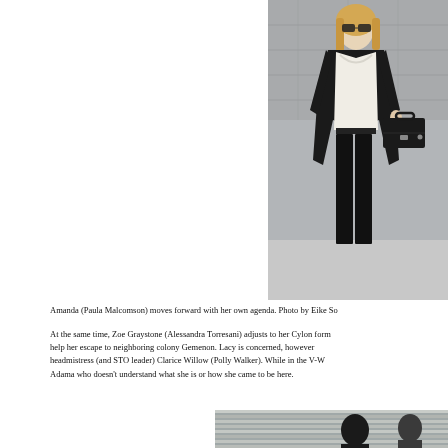[Figure (photo): Woman (Paula Malcomson) walking forward wearing sunglasses, black leather jacket, white top, black pants, carrying a black briefcase. Stone/concrete background.]
Amanda (Paula Malcomson) moves forward with her own agenda. Photo by Eike So
At the same time, Zoe Graystone (Alessandra Torresani) adjusts to her Cylon form help her escape to neighboring colony Gemenon. Lacy is concerned, however headmistress (and STO leader) Clarice Willow (Polly Walker). While in the V-W Adama who doesn't understand what she is or how she came to be here.
[Figure (photo): Partial view of a scene with people, appears to be indoors with horizontal blinds/slats visible in the background.]